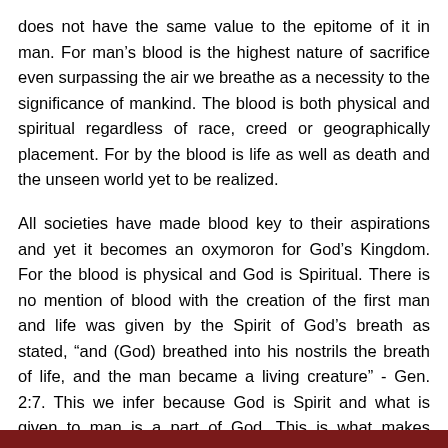does not have the same value to the epitome of it in man. For man's blood is the highest nature of sacrifice even surpassing the air we breathe as a necessity to the significance of mankind. The blood is both physical and spiritual regardless of race, creed or geographically placement. For by the blood is life as well as death and the unseen world yet to be realized.
All societies have made blood key to their aspirations and yet it becomes an oxymoron for God's Kingdom. For the blood is physical and God is Spiritual. There is no mention of blood with the creation of the first man and life was given by the Spirit of God's breath as stated, “and (God) breathed into his nostrils the breath of life, and the man became a living creature” - Gen. 2:7. This we infer because God is Spirit and what is given to man is a part of God. This is what makes mankind in His image.
[Figure (other): Dark reddish-brown decorative footer bar at the bottom of the page]